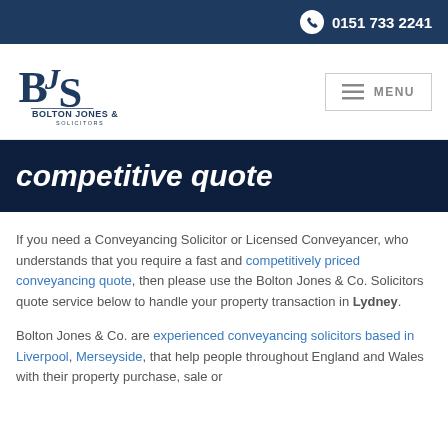0151 733 2241
[Figure (logo): BJS Bolton Jones & Co Solicitors logo]
competitive quote
If you need a Conveyancing Solicitor or Licensed Conveyancer, who understands that you require a fast and competitively priced conveyancing quote, then please use the Bolton Jones & Co. Solicitors quote service below to handle your property transaction in Lydney.
Bolton Jones & Co. are experienced conveyancing solicitors based in Liverpool, Merseyside, that help people throughout England and Wales with their property purchase, sale or